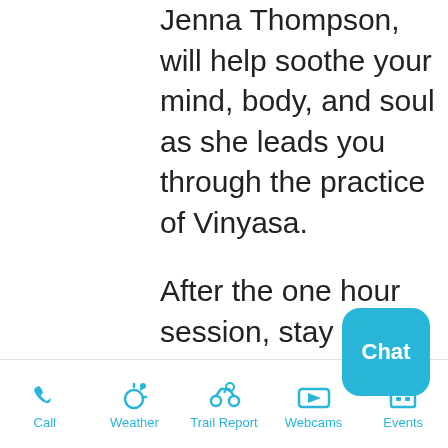Jenna Thompson, will help soothe your mind, body, and soul as she leads you through the practice of Vinyasa.
After the one hour session, stay for lunch and drinks at the highest bar and restaurant in the high country. Handcrafted Beech Mountain Brewing Co. beer is
[Figure (screenshot): Chat button - cyan rounded square with white text 'Chat']
Call | Weather | Trail Report | Webcams | Events